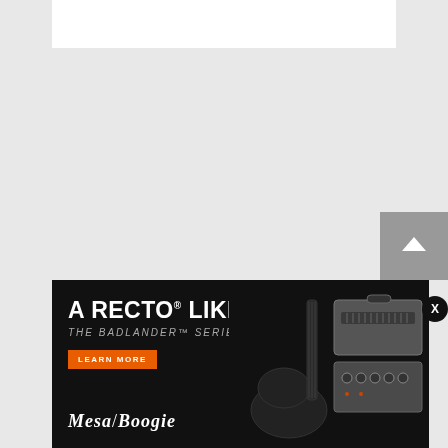[Figure (screenshot): White rectangle at top of page on gray background, likely a content area placeholder]
[Figure (illustration): Scroll-to-top button: gray square with white upward chevron arrow, partially visible at right edge]
[Figure (advertisement): Mesa/Boogie Badlander Series advertisement banner. Dark background with guitar amplifier and electric guitar photo on right. Text reads: A RECTO LIKE NO OTHER / THE BADLANDER SERIES / LEARN MORE button in orange / Mesa/Boogie logo at bottom left.]